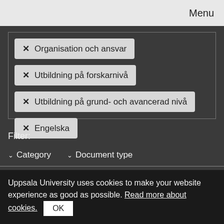Menu
× Organisation och ansvar
× Utbildning på forskarnivå
× Utbildning på grund- och avancerad nivå
× Engelska
Filter:
∨ Category    ∨ Document type
Uppsala University uses cookies to make your website experience as good as possible. Read more about cookies. OK